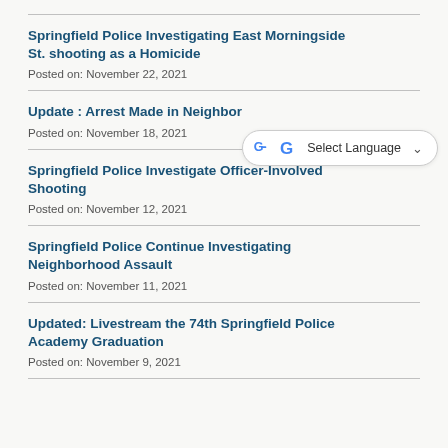Springfield Police Investigating East Morningside St. shooting as a Homicide
Posted on: November 22, 2021
Update : Arrest Made in Neighborhood...
Posted on: November 18, 2021
Springfield Police Investigate Officer-Involved Shooting
Posted on: November 12, 2021
Springfield Police Continue Investigating Neighborhood Assault
Posted on: November 11, 2021
Updated: Livestream the 74th Springfield Police Academy Graduation
Posted on: November 9, 2021